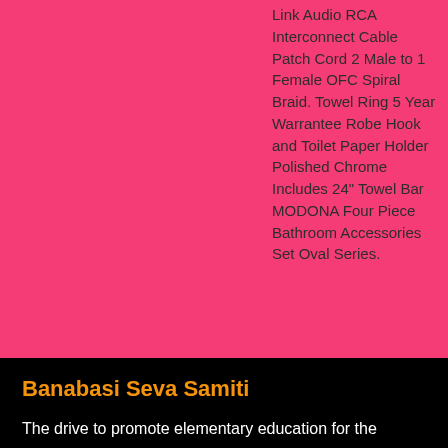Link Audio RCA Interconnect Cable Patch Cord 2 Male to 1 Female OFC Spiral Braid. Towel Ring 5 Year Warrantee Robe Hook and Toilet Paper Holder Polished Chrome Includes 24" Towel Bar MODONA Four Piece Bathroom Accessories Set Oval Series.
Banabasi Seva Samiti
The drive to promote elementary education for the